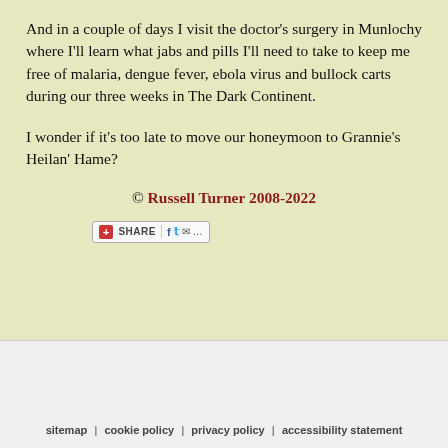And in a couple of days I visit the doctor's surgery in Munlochy where I'll learn what jabs and pills I'll need to take to keep me free of malaria, dengue fever, ebola virus and bullock carts during our three weeks in The Dark Continent.
I wonder if it's too late to move our honeymoon to Grannie's Heilan' Hame?
© Russell Turner 2008-2022
[Figure (other): Social share widget with SHARE button, Facebook, Twitter, email icons and more options]
sitemap | cookie policy | privacy policy | accessibility statement